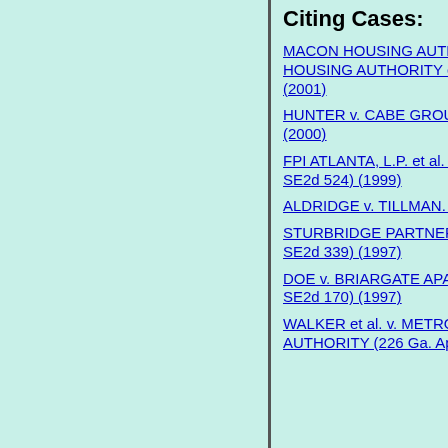Citing Cases:
MACON HOUSING AUTHORITY v. PATRICK.; PATRICK v. MACON HOUSING AUTHORITY et al. (250 Ga. App. 806) (552 SE2d 455) (2001)
HUNTER v. CABE GROUP, INC. (244 Ga. App. 162) (535 SE2d 248) (2000)
FPI ATLANTA, L.P. et al. v. SEATON et al. (240 Ga. App. 880) (524 SE2d 524) (1999)
ALDRIDGE v. TILLMAN. (237 Ga. App. 600) (516 SE2d 303) (1999)
STURBRIDGE PARTNERS, LTD. et al. v. WALKER. (267 Ga. 785) (482 SE2d 339) (1997)
DOE v. BRIARGATE APARTMENTS, INC. (227 Ga. App. 408) (489 SE2d 170) (1997)
WALKER et al. v. METROPOLITAN ATLANTA RAPID TRANSIT AUTHORITY (226 Ga. App.